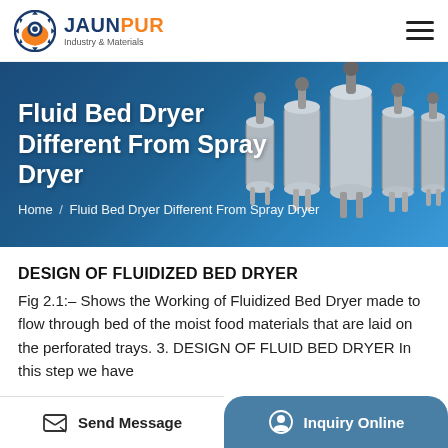JAUNPUR Industry & Materials
[Figure (screenshot): Hero banner showing industrial fluid bed dryer machines (stainless steel tanks) with blue gradient background, title 'Fluid Bed Dryer Different From Spray Dryer' and breadcrumb 'Home / Fluid Bed Dryer Different From Spray Dryer']
DESIGN OF FLUIDIZED BED DRYER
Fig 2.1:– Shows the Working of Fluidized Bed Dryer made to flow through bed of the moist food materials that are laid on the perforated trays. 3. DESIGN OF FLUID BED DRYER In this step we have
Send Message   Inquiry Online